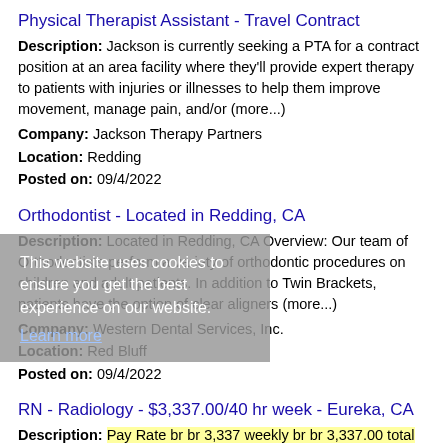Physical Therapist Assistant - Travel Contract
Description: Jackson is currently seeking a PTA for a contract position at an area facility where they'll provide expert therapy to patients with injuries or illnesses to help them improve movement, manage pain, and/or (more...)
Company: Jackson Therapy Partners
Location: Redding
Posted on: 09/4/2022
Orthodontist - Located in Redding, CA
Description: Located in Redding, CA Overview: Our team of Orthodontists perform a variety of orthodontic procedures on children and adult patients. In addition to Twin Brackets, patients have the option of clear aligners (more...)
Company: Western Dental Services, Inc.
Location: Red Bluff
Posted on: 09/4/2022
RN - Radiology - $3,337.00/40 hr week - Eureka, CA
Description: Pay Rate br br 3,337 weekly br br 3,337.00 total gross weekly
Company: Nurse 2 Nurse Staffing
Location: Eureka